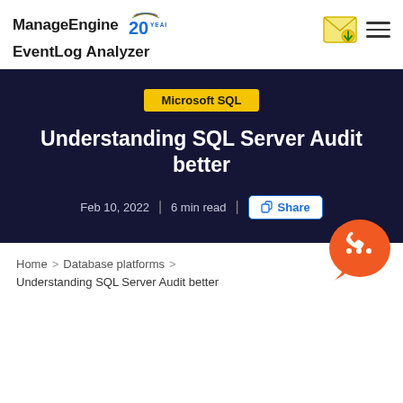ManageEngine EventLog Analyzer
Microsoft SQL
Understanding SQL Server Audit better
Feb 10, 2022  |  6 min read  |  Share
[Figure (other): Orange chat/phone support widget in bottom right corner]
Home > Database platforms > Understanding SQL Server Audit better